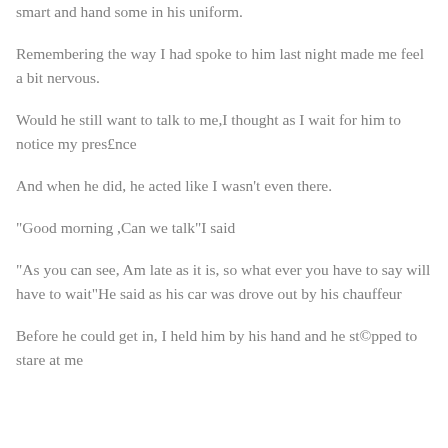smart and hand some in his uniform.
Remembering the way I had spoke to him last night made me feel a bit nervous.
Would he still want to talk to me,I thought as I wait for him to notice my pres£nce
And when he did, he acted like I wasn't even there.
“Good morning ,Can we talk”I said
“As you can see, Am late as it is, so what ever you have to say will have to wait”He said as his car was drove out by his chauffeur
Before he could get in, I held him by his hand and he st©pped to stare at me